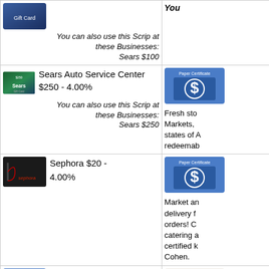[Figure (other): Gift card image top-left (partially visible)]
You can also use this Scrip at these Businesses: Sears $100
[Figure (other): Gift card image top-right (partially visible)]
You
[Figure (other): Sears $250 gift card]
Sears Auto Service Center $250 - 4.00%
[Figure (other): Paper Certificate dollar sign card]
You can also use this Scrip at these Businesses: Sears $250
Fresh sto Markets, states of A redeemab
[Figure (other): Sephora black gift card]
Sephora $20 - 4.00%
[Figure (other): Paper Certificate dollar sign card]
Market an delivery f orders! C catering a certified k Cohen.
[Figure (other): Paper Certificate dollar sign card]
Seroff Kosher Meat Market and Deli $50 - 5% Seroff Kosher Meat Market and Deli will
[Figure (other): Seashell gift card image]